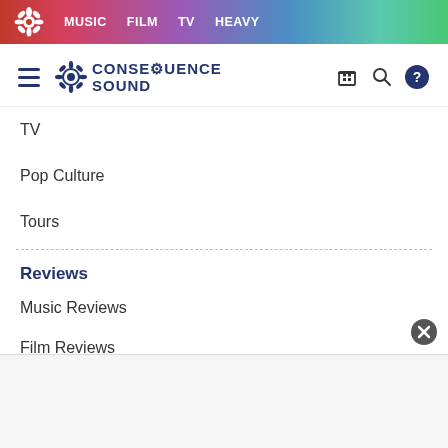MUSIC  FILM  TV  HEAVY
[Figure (logo): Consequence Sound logo with gear icon and text CONSEQUENCE SOUND]
TV
Pop Culture
Tours
Reviews
Music Reviews
Film Reviews
TV Reviews
Concert Reviews